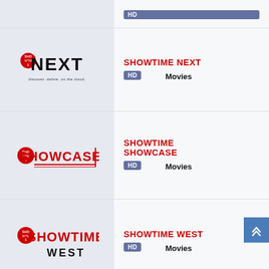[Figure (logo): HD badge only visible at top]
[Figure (logo): Showtime Next logo with tagline 'discover. define. on the cloud.']
SHOWTIME NEXT
HD
Movies
[Figure (logo): Showtime Showcase logo in red]
SHOWTIME SHOWCASE
HD
Movies
[Figure (logo): Showtime West logo in red with WEST text in black]
SHOWTIME WEST
HD
Movies
SHOWTIME